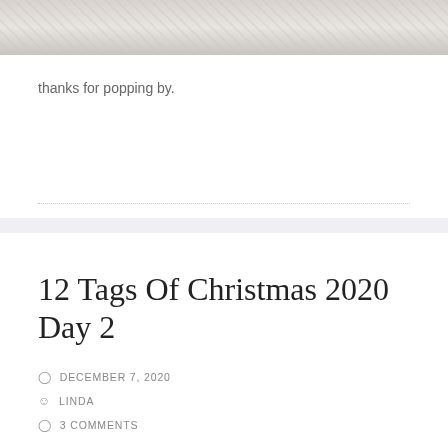[Figure (photo): Partial view of a decorative image at the top of a blog post card, showing a soft grey/beige patterned background]
thanks for popping by.
12 Tags Of Christmas 2020 Day 2
DECEMBER 7, 2020
LINDA
3 COMMENTS